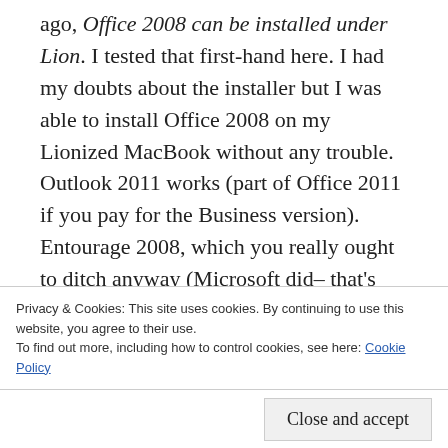ago, Office 2008 can be installed under Lion. I tested that first-hand here. I had my doubts about the installer but I was able to install Office 2008 on my Lionized MacBook without any trouble.

Outlook 2011 works (part of Office 2011 if you pay for the Business version). Entourage 2008, which you really ought to ditch anyway (Microsoft did– that's why they ship Office 2011 with Outlook instead), doesn't work very well for me. In fact, it won't do anything other than launch and crash. Your mileage may vary but if
Privacy & Cookies: This site uses cookies. By continuing to use this website, you agree to their use.
To find out more, including how to control cookies, see here: Cookie Policy
Close and accept
requirements. Look at these screenshots of